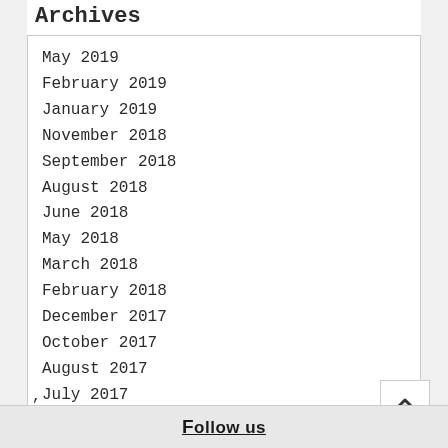Archives
May 2019
February 2019
January 2019
November 2018
September 2018
August 2018
June 2018
May 2018
March 2018
February 2018
December 2017
October 2017
August 2017
July 2017
May 2017
,
Follow us